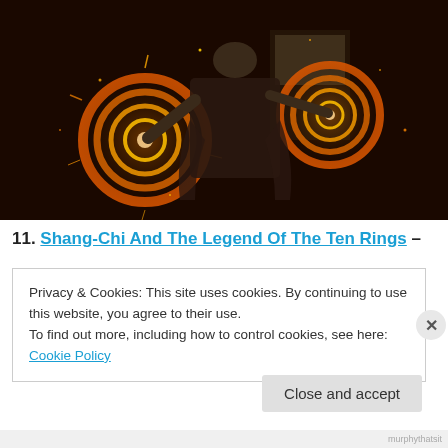[Figure (photo): A figure in dark armor conjures two glowing circular orange fire mandalas/sling rings with sparks flying in a dark room — appears to be Doctor Strange from a Marvel film.]
11. Shang-Chi And The Legend Of The Ten Rings –
Privacy & Cookies: This site uses cookies. By continuing to use this website, you agree to their use.
To find out more, including how to control cookies, see here: Cookie Policy